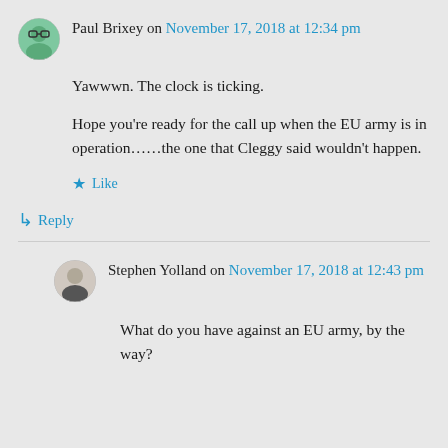Paul Brixey on November 17, 2018 at 12:34 pm
Yawwwn. The clock is ticking.

Hope you’re ready for the call up when the EU army is in operation……the one that Cleggy said wouldn’t happen.
★ Like
↳ Reply
Stephen Yolland on November 17, 2018 at 12:43 pm
What do you have against an EU army, by the way?